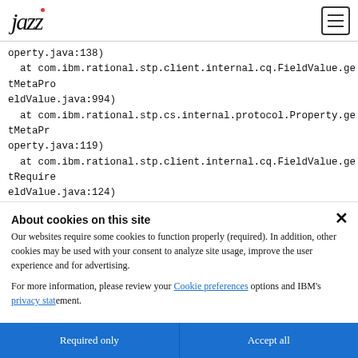Jazz | IBM
operty.java:138)
at com.ibm.rational.stp.client.internal.cq.FieldValue.getMetaPro
eldValue.java:994)
at com.ibm.rational.stp.cs.internal.protocol.Property.getMetaPr
operty.java:119)
at com.ibm.rational.stp.client.internal.cq.FieldValue.getRequire
eldValue.java:124)
About cookies on this site
Our websites require some cookies to function properly (required). In addition, other cookies may be used with your consent to analyze site usage, improve the user experience and for advertising.
For more information, please review your Cookie preferences options and IBM's privacy statement.
Required only
Accept all